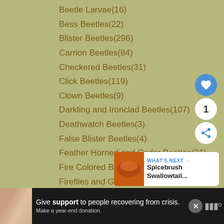Beetle Larvae(16)
Bess Beetles(22)
Blister Beetles(296)
Carrion Beetles(84)
Checkered Beetles(31)
Click Beetles(119)
Clown Beetles(9)
Darkling and Ironclad Beetles(107)
Deathwatch Beetles(3)
False Blister Beetles(4)
Feather Horned and Cedar Beetles(21)
Fire Colored Beetles(5)
Fireflies and Glowworms(134)
Flower Beetles and False Blister Beetles(8)
Fungus Beetles and Pleasing Fungus Beetles(39)
Ground Beetles(212) ▼
Tiger Beetles(61)
Grubs(90)
Lady Bug(152)